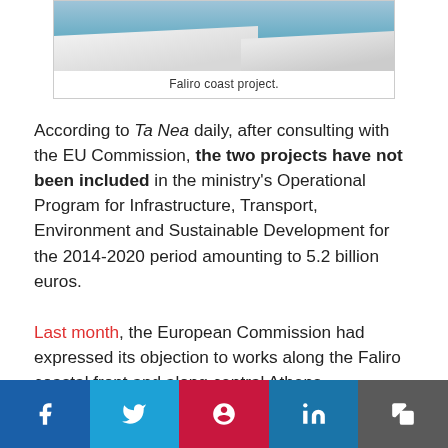[Figure (photo): Faliro coast project - aerial/side view of a pier or coastal walkway over blue water]
Faliro coast project.
According to Ta Nea daily, after consulting with the EU Commission, the two projects have not been included in the ministry's Operational Program for Infrastructure, Transport, Environment and Sustainable Development for the 2014-2020 period amounting to 5.2 billion euros.
Last month, the European Commission had expressed its objection to works along the Faliro coastal front and along central Athens Panepistimiou Avenue, claiming that plans were “ornamental”, “touristy” and “redundant”.